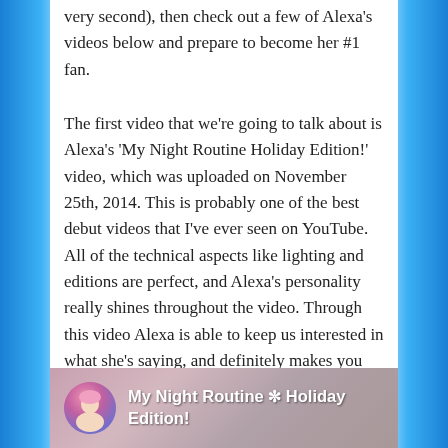very second), then check out a few of Alexa's videos below and prepare to become her #1 fan.
The first video that we're going to talk about is Alexa's 'My Night Routine Holiday Edition!' video, which was uploaded on November 25th, 2014. This is probably one of the best debut videos that I've ever seen on YouTube. All of the technical aspects like lighting and editions are perfect, and Alexa's personality really shines throughout the video. Through this video Alexa is able to keep us interested in what she's saying, and definitely makes you want to continue watching her videos. Honestly with such a strong start, I'm excited to see how good her videos will be years from now.
[Figure (screenshot): YouTube video thumbnail showing 'My Night Routine ✼ Holiday Edition!' with a circular profile icon of a woman with colorful hair on the left.]